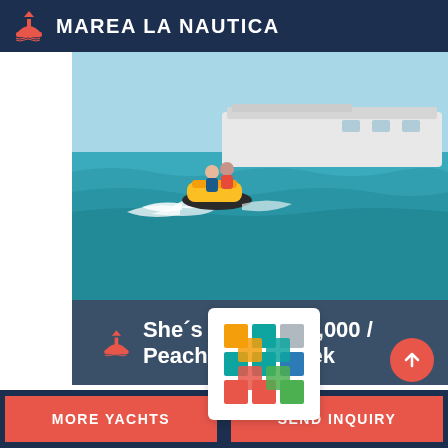MAREA LA NAUTICA
[Figure (photo): Two people riding a jet ski on turquoise water near a large white yacht]
She´s A Peach    $65,000 / week
[Figure (logo): Colorful grid/mosaic logo with orange, teal, gray, blue, red, and green squares arranged in a pattern]
MORE YACHTS    SEND INQUIRY